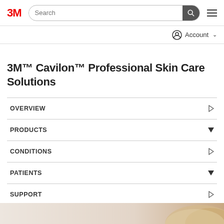3M [logo] | Search | [hamburger menu]
Account
3M™ Cavilon™ Professional Skin Care Solutions
OVERVIEW
PRODUCTS
CONDITIONS
PATIENTS
SUPPORT
[Figure (photo): Partial view of a person with blonde/grey hair at the bottom edge of the page]